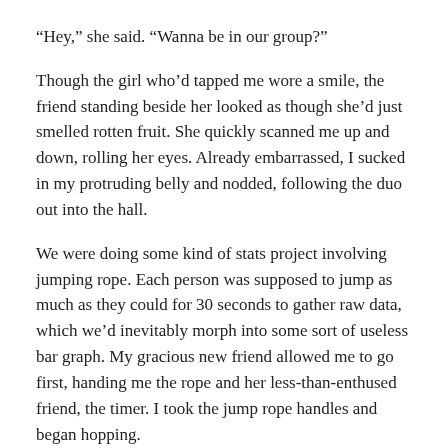“Hey,” she said. “Wanna be in our group?”
Though the girl who’d tapped me wore a smile, the friend standing beside her looked as though she’d just smelled rotten fruit. She quickly scanned me up and down, rolling her eyes. Already embarrassed, I sucked in my protruding belly and nodded, following the duo out into the hall.
We were doing some kind of stats project involving jumping rope. Each person was supposed to jump as much as they could for 30 seconds to gather raw data, which we’d inevitably morph into some sort of useless bar graph. My gracious new friend allowed me to go first, handing me the rope and her less-than-enthused friend, the timer. I took the jump rope handles and began hopping.
For an out-of-shape blob, my first 10 seconds or so went surprisingly well. Sweat was barely pooling around my forehead acne, my boob movement was under control —